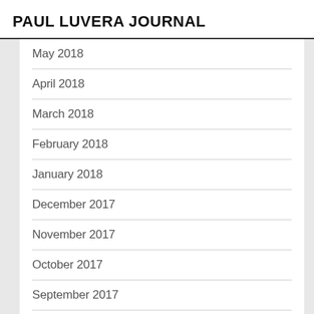PAUL LUVERA JOURNAL
May 2018
April 2018
March 2018
February 2018
January 2018
December 2017
November 2017
October 2017
September 2017
August 2017